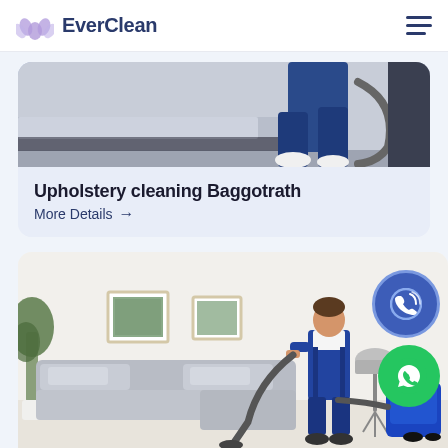EverClean
[Figure (photo): Person in blue uniform using a vacuum hose to clean under a grey sofa — upholstery cleaning scene]
Upholstery cleaning Baggotrath
More Details →
[Figure (photo): Professional cleaner in blue overalls using an upholstery cleaning machine on a grey sectional sofa in a bright living room, with potted plant, framed pictures, lamp, and blue cleaning machine visible]